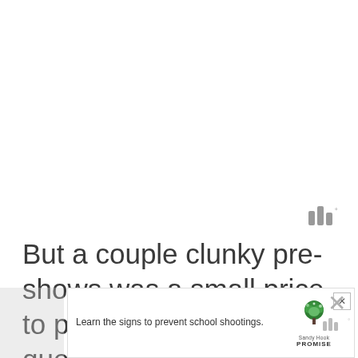[Figure (other): Small watermark/logo icon with three vertical bars and a degree symbol, in gray]
But a couple clunky pre-shows was a small price to pay for an awesome queue and an amazing ride.
[Figure (other): Advertisement banner: 'Learn the signs to prevent school shootings.' with Sandy Hook Promise tree logo and a close button]
[Figure (logo): Watermark logo at bottom right with bars and degree symbol]